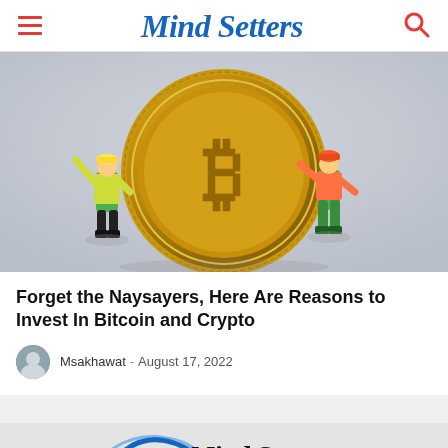Mind Setters
[Figure (photo): Two miniature toy figurines pushing a large golden Bitcoin coin against a light gray background. One figurine wears a yellow jacket, the other wears orange and green. The Bitcoin symbol is visible on the coin.]
Forget the Naysayers, Here Are Reasons to Invest In Bitcoin and Crypto
Msakhawat - August 17, 2022
[Figure (logo): Mind Setters logo with blue arc/swoosh graphic and bold italic black text reading 'Mind Setters']